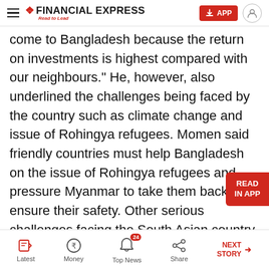Financial Express — Read to Lead
come to Bangladesh because the return on investments is highest compared with our neighbours." He, however, also underlined the challenges being faced by the country such as climate change and issue of Rohingya refugees. Momen said friendly countries must help Bangladesh on the issue of Rohingya refugees and pressure Myanmar to take them back and ensure their safety. Other serious challenges facing the South Asian country is its large population and the lack of infrastructure.
Latest | Money | Top News 24 | Share | NEXT STORY